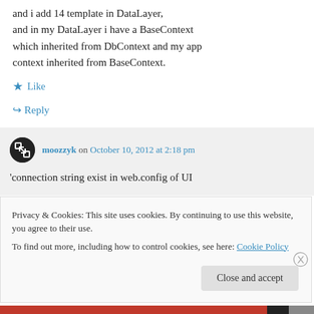and i add 14 template in DataLayer, and in my DataLayer i have a BaseContext which inherited from DbContext and my app context inherited from BaseContext.
★ Like
↪ Reply
moozzyk on October 10, 2012 at 2:18 pm
'connection string exist in web.config of UI
Privacy & Cookies: This site uses cookies. By continuing to use this website, you agree to their use.
To find out more, including how to control cookies, see here: Cookie Policy
Close and accept